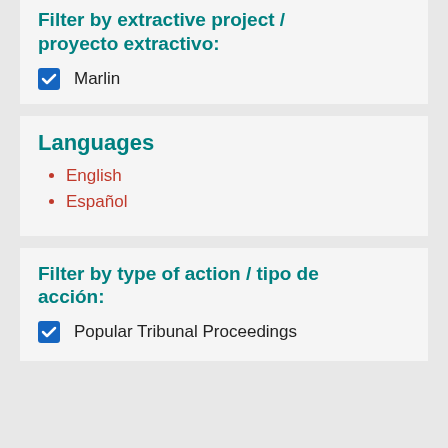Filter by extractive project / proyecto extractivo:
☑ Marlin
Languages
English
Español
Filter by type of action / tipo de acción:
☑ Popular Tribunal Proceedings